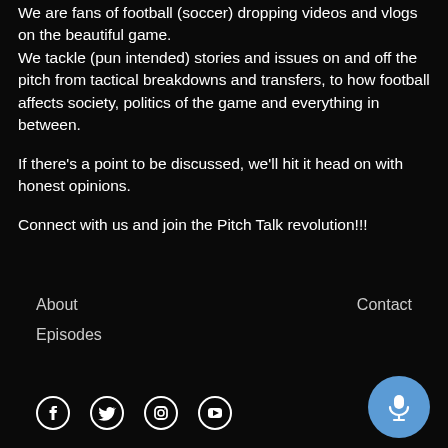We are fans of football (soccer) dropping videos and vlogs on the beautiful game.
We tackle (pun intended) stories and issues on and off the pitch from tactical breakdowns and transfers, to how football affects society, politics of the game and everything in between.
If there's a point to be discussed, we'll hit it head on with honest opinions.
Connect with us and join the Pitch Talk revolution!!!
About
Contact
Episodes
[Figure (illustration): Social media icons: Facebook, Twitter, Instagram, YouTube]
[Figure (other): Blue circular microphone/podcast button]